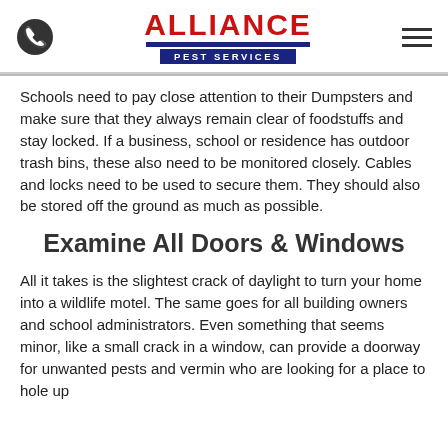Alliance Pest Services
Schools need to pay close attention to their Dumpsters and make sure that they always remain clear of foodstuffs and stay locked. If a business, school or residence has outdoor trash bins, these also need to be monitored closely. Cables and locks need to be used to secure them. They should also be stored off the ground as much as possible.
Examine All Doors & Windows
All it takes is the slightest crack of daylight to turn your home into a wildlife motel. The same goes for all building owners and school administrators. Even something that seems minor, like a small crack in a window, can provide a doorway for unwanted pests and vermin who are looking for a place to hole up